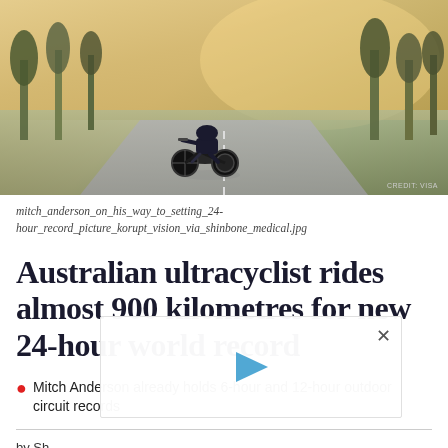[Figure (photo): Cyclist in aerodynamic position riding on a road lined with trees, warm golden light in background]
mitch_anderson_on_his_way_to_setting_24-hour_record_picture_korupt_vision_via_shinbone_medical.jpg
Australian ultracyclist rides almost 900 kilometres for new 24-hour world record
Mitch Anderson already holds 6-hour and 12-hour outdoor circuit records
by Sh
WED,